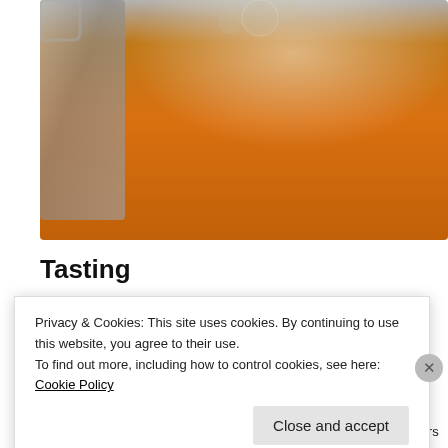[Figure (photo): Close-up photo of a beer or amber liquid in a metal container with foam/bubbles on top, shot from above at an angle.]
Tasting
[Figure (other): Advertisement banner: FANDOM ON tumblr with colorful gradient background (orange to purple) and doodle decorations.]
In an effort to improve the perception my readers can get of my beers I
Privacy & Cookies: This site uses cookies. By continuing to use this website, you agree to their use.
To find out more, including how to control cookies, see here: Cookie Policy
Close and accept